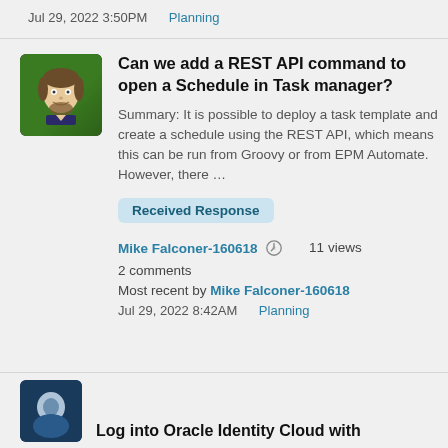Jul 29, 2022 3:50PM    Planning
Can we add a REST API command to open a Schedule in Task manager?
Summary: It is possible to deploy a task template and create a schedule using the REST API, which means this can be run from Groovy or from EPM Automate. However, there …
Received Response
Mike Falconer-160618   11 views
2 comments
Most recent by Mike Falconer-160618
Jul 29, 2022 8:42AM    Planning
Log into Oracle Identity Cloud with